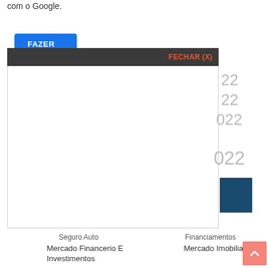com o Google.
FAZER LOGIN COM O GOOGLE
[Figure (screenshot): Modal dialog with dark header showing FECHAR (X) button in red-orange, white body area, and partial bar chart content visible on the right side showing year labels (22, 22, 022, 022) and a dark teal bar block.]
Seguro Auto
Financiamentos
Mercado Financerio E Investimentos
Mercado Imobiliario